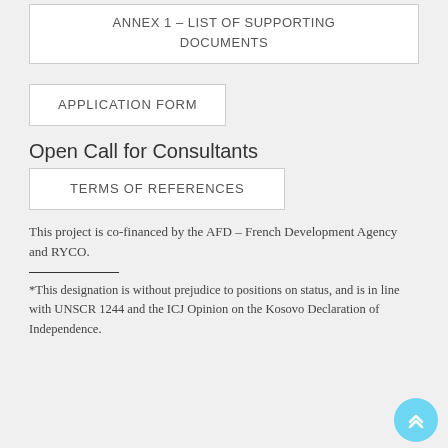ANNEX 1 – LIST OF SUPPORTING DOCUMENTS
APPLICATION FORM
Open Call for Consultants
TERMS OF REFERENCES
This project is co-financed by the AFD – French Development Agency and RYCO.
*This designation is without prejudice to positions on status, and is in line with UNSCR 1244 and the ICJ Opinion on the Kosovo Declaration of Independence.